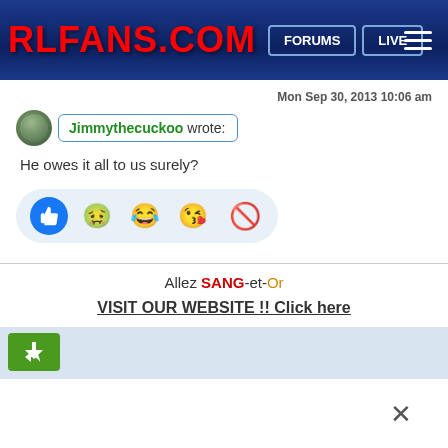RLFANS.COM | FORUMS | LIVE
Mon Sep 30, 2013 10:06 am
Jimmythecuckoo wrote:
He owes it all to us surely?
Allez SANG-et-Or
VISIT OUR WEBSITE !! Click here